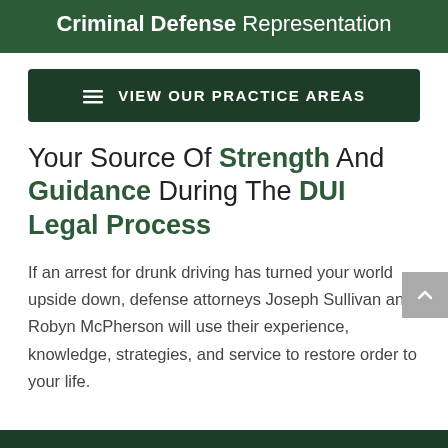Criminal Defense Representation
VIEW OUR PRACTICE AREAS
Your Source Of Strength And Guidance During The DUI Legal Process
If an arrest for drunk driving has turned your world upside down, defense attorneys Joseph Sullivan and Robyn McPherson will use their experience, knowledge, strategies, and service to restore order to your life.